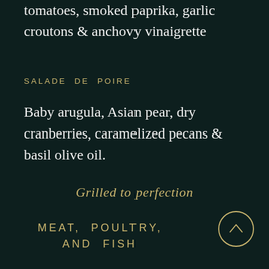tomatoes, smoked paprika, garlic croutons & anchovy vinaigrette
SALADE DE POIRE
Baby arugula, Asian pear, dry cranberries, caramelized pecans & basil olive oil.
Grilled to perfection
MEAT, POULTRY, AND FISH